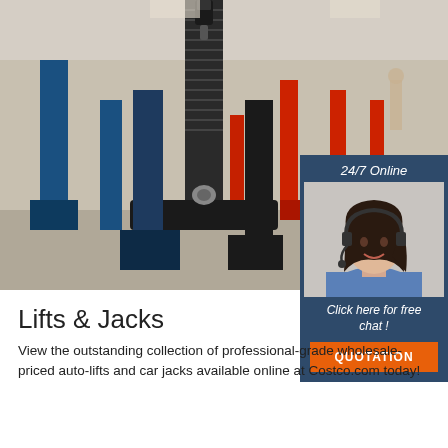[Figure (photo): Industrial workshop with auto lifts and car jacks, blue and red machinery, close-up of a screw jack mechanism in foreground]
[Figure (photo): Sidebar ad with dark blue background: '24/7 Online' text, photo of smiling woman with headset, 'Click here for free chat!' text, orange QUOTATION button]
Lifts & Jacks
[Figure (logo): TOP logo with orange dots arranged in a triangle above red/orange T-O-P text]
View the outstanding collection of professional-grade wholesale-priced auto-lifts and car jacks available online at Costco.com today!